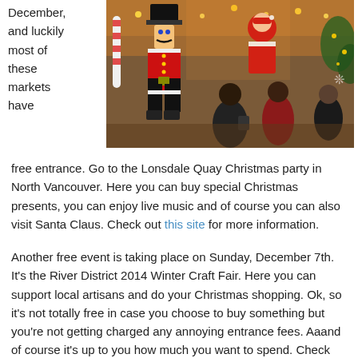December, and luckily most of these markets have
[Figure (photo): Christmas market scene with a large nutcracker decoration, people browsing stalls, Santa Claus figure, candy cane decorations, and festive lights under a wooden pavilion canopy]
free entrance. Go to the Lonsdale Quay Christmas party in North Vancouver. Here you can buy special Christmas presents, you can enjoy live music and of course you can also visit Santa Claus. Check out this site for more information.
Another free event is taking place on Sunday, December 7th. It’s the River District 2014 Winter Craft Fair. Here you can support local artisans and do your Christmas shopping. Ok, so it’s not totally free in case you choose to buy something but you’re not getting charged any annoying entrance fees. Aaand of course it’s up to you how much you want to spend. Check out the location and get more information here.